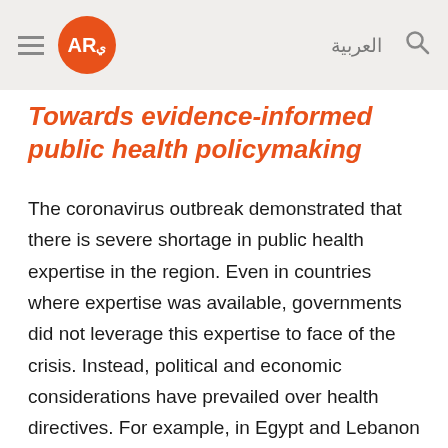AR العربية [search icon]
Towards evidence-informed public health policymaking
The coronavirus outbreak demonstrated that there is severe shortage in public health expertise in the region. Even in countries where expertise was available, governments did not leverage this expertise to face of the crisis. Instead, political and economic considerations have prevailed over health directives. For example, in Egypt and Lebanon political factors most likely have contributed to the delay in the government's decision to respond